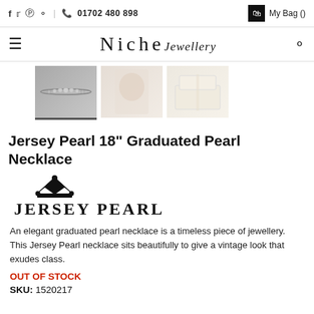f  ✦  pinterest  instagram  |  📞  01702 480 898    🛍 My Bag ()
[Figure (logo): Niche Jewellery logo with hamburger menu icon on left and search icon on right]
[Figure (photo): Three product thumbnail images: pearl necklace on grey background (selected), woman wearing necklace, gift box packaging]
Jersey Pearl 18" Graduated Pearl Necklace
[Figure (logo): Jersey Pearl brand logo with crown icon above text JERSEY PEARL]
An elegant graduated pearl necklace is a timeless piece of jewellery. This Jersey Pearl necklace sits beautifully to give a vintage look that exudes class.
OUT OF STOCK
SKU: 1520217